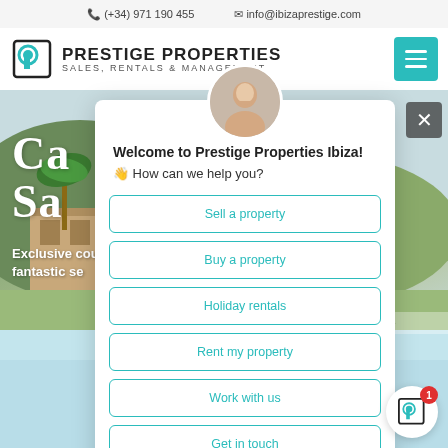(+34) 971 190 455 | info@ibizaprestige.com
[Figure (logo): Prestige Properties logo with circular P icon]
Prestige Properties Sales, Rentals & Management
[Figure (photo): Background hero photo of villa with pool in Ibiza countryside]
Ca Sa
Exclusive countr fantastic se
Welcome to Prestige Properties Ibiza!
👋 How can we help you?
Sell a property
Buy a property
Holiday rentals
Rent my property
Work with us
Get in touch
POA
Ref: 7000